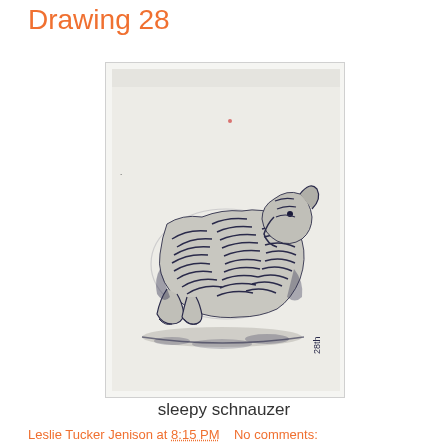Drawing 28
[Figure (illustration): Ink drawing of a sleepy schnauzer dog lying down, rendered in dark navy/black ink on white paper, with the notation '28th' written vertically in the lower right corner of the drawing.]
sleepy schnauzer
Leslie Tucker Jenison at 8:15 PM    No comments: